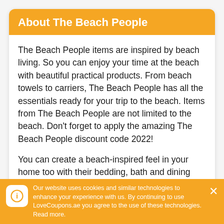About The Beach People
The Beach People items are inspired by beach living. So you can enjoy your time at the beach with beautiful practical products. From beach towels to carriers, The Beach People has all the essentials ready for your trip to the beach. Items from The Beach People are not limited to the beach. Don't forget to apply the amazing The Beach People discount code 2022!
You can create a beach-inspired feel in your home too with their bedding, bath and dining offerings. Makers of luxe essentials for the land
Our website uses cookies and similar technologies to enhance your experience with us. By continuing to use LoveCoupons.ae you agree to the use of these technologies. Read more.